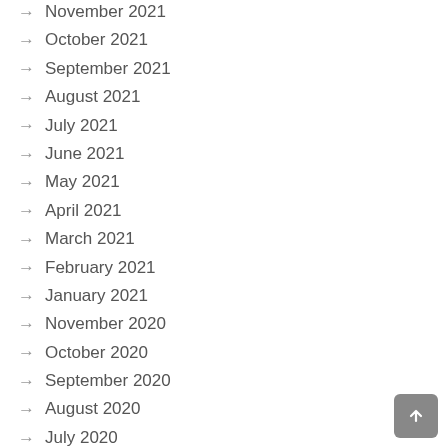November 2021
October 2021
September 2021
August 2021
July 2021
June 2021
May 2021
April 2021
March 2021
February 2021
January 2021
November 2020
October 2020
September 2020
August 2020
July 2020
June 2020
May 2020
April 2020
March 2020